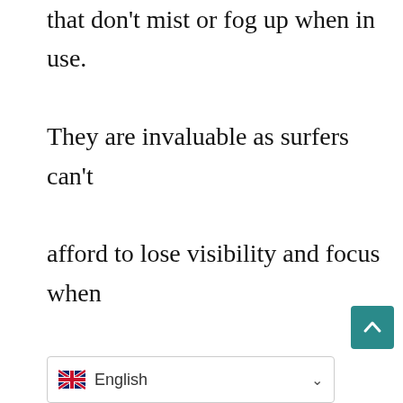that don't mist or fog up when in use. They are invaluable as surfers can't afford to lose visibility and focus when they're out.
Good airflow helps in reducing fog on the lenses. Alternatively, you can spray anti-fog spray on both sides of your lenses before going out.
360-Degree Visibility
Another essential factor to consider